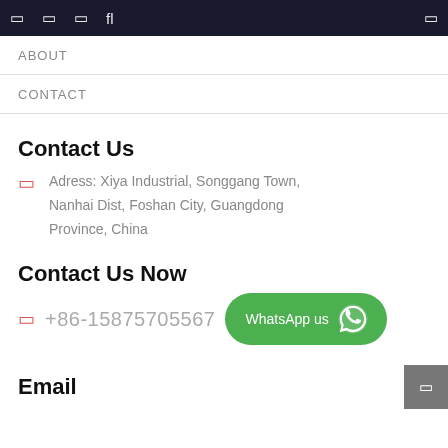navigation icons bar
ABOUT
CONTACT
Contact Us
Adress: Xiya Industrial, Songgang Town, Nanhai Dist, Foshan City, Guangdong Province, China
Contact Us Now
+86-15875705567
WhatsApp us
Email